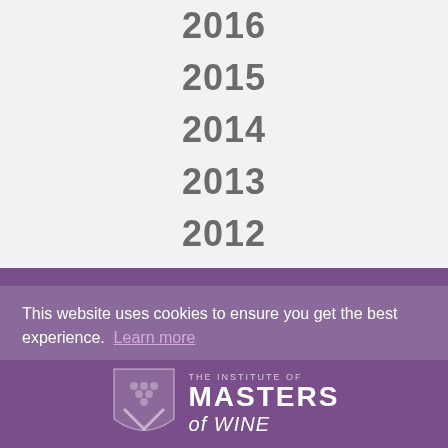2016
2015
2014
2013
2012
2011
2010
This website uses cookies to ensure you get the best experience. Learn more
Accept
[Figure (logo): The Institute of Masters of Wine logo — shield emblem with text]